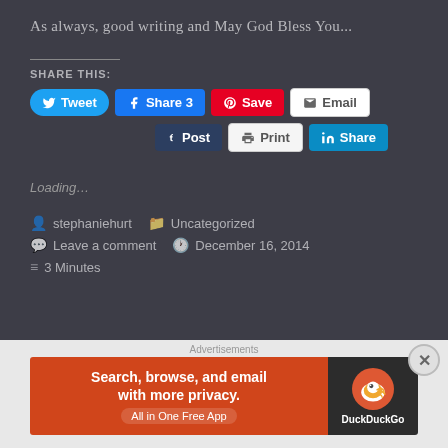As always, good writing and May God Bless You...
Share This:
[Figure (screenshot): Social sharing buttons: Tweet, Share 3 (Facebook), Save (Pinterest), Email, Post (Tumblr), Print, Share (LinkedIn)]
Loading...
stephaniehurt   Uncategorized
Leave a comment   December 16, 2014
3 Minutes
Advertisements
[Figure (screenshot): DuckDuckGo advertisement banner: Search, browse, and email with more privacy. All in One Free App]